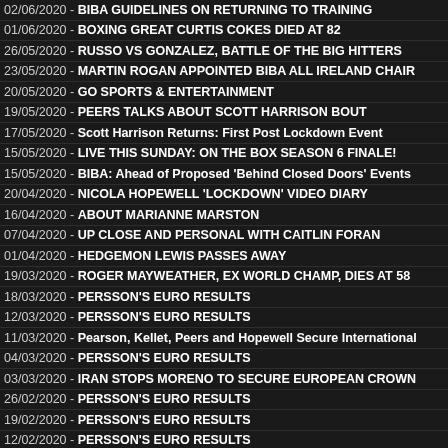02/06/2020 - BIBA GUIDELINES ON RETURNING TO TRAINING
01/06/2020 - BOXING GREAT CURTIS COKES DIED AT 82
26/05/2020 - RUSSO VS GONZALEZ, BATTLE OF THE BIG HITTERS
23/05/2020 - MARTIN ROGAN APPOINTED BIBA ALL IRELAND CHAIR
20/05/2020 - GO SPORTS & ENTERTAINMENT
19/05/2020 - PEERS TALKS ABOUT SCOTT HARRISON BOUT
17/05/2020 - Scott Harrison Returns: First Post Lockdown Event
15/05/2020 - LIVE THIS SUNDAY: ON THE BOX SEASON 6 FINALE!
15/05/2020 - BIBA: Ahead of Proposed 'Behind Closed Doors' Events
20/04/2020 - NICOLA HOPEWELL 'LOCKDOWN' VIDEO DIARY
16/04/2020 - ABOUT MARIANNE MARSTON
07/04/2020 - UP CLOSE AND PERSONAL WITH CAITLIN FORAN
01/04/2020 - HEDGEMON LEWIS PASSES AWAY
19/03/2020 - ROGER MAYWEATHER, EX WORLD CHAMP, DIES AT 58
18/03/2020 - PERSSON'S EURO RESULTS
12/03/2020 - PERSSON'S EURO RESULTS
11/03/2020 - Pearson, Kellet, Peers and Hopewell Secure International
04/03/2020 - PERSSON'S EURO RESULTS
03/03/2020 - IRAN STOPS MORENO TO SECURE EUROPEAN CROWN
26/02/2020 - PERSSON'S EURO RESULTS
19/02/2020 - PERSSON'S EURO RESULTS
12/02/2020 - PERSSON'S EURO RESULTS
05/02/2020 - PERSSON'S EURO RESULTS
29/01/2020 - PERSSON'S EURO RESULTS
22/01/2020 - PERSSON'S EURO RESULTS
01/01/2020 - PERSSON'S EURO RESULTS
25/12/2019 - PERSSON'S EURO RESULTS